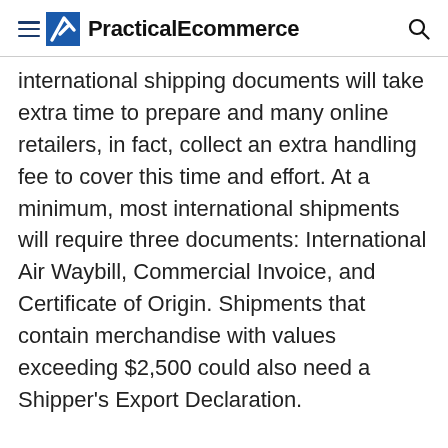PracticalEcommerce
International shipping documents will take extra time to prepare and many online retailers, in fact, collect an extra handling fee to cover this time and effort. At a minimum, most international shipments will require three documents: International Air Waybill, Commercial Invoice, and Certificate of Origin. Shipments that contain merchandise with values exceeding $2,500 could also need a Shipper's Export Declaration.